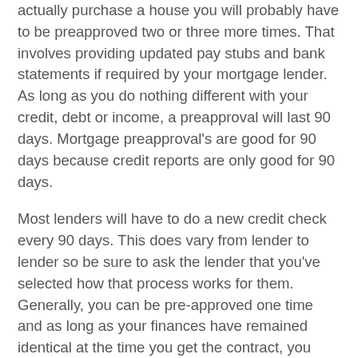actually purchase a house you will probably have to be preapproved two or three more times. That involves providing updated pay stubs and bank statements if required by your mortgage lender. As long as you do nothing different with your credit, debt or income, a preapproval will last 90 days. Mortgage preapproval's are good for 90 days because credit reports are only good for 90 days.
Most lenders will have to do a new credit check every 90 days. This does vary from lender to lender so be sure to ask the lender that you've selected how that process works for them. Generally, you can be pre-approved one time and as long as your finances have remained identical at the time you get the contract, you should be okay only having done one preapproval.
Buying a house requires careful consideration of all the